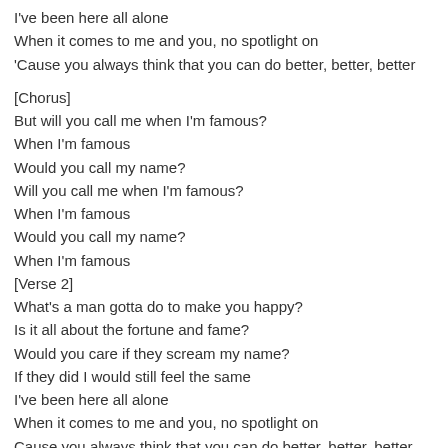I've been here all alone
When it comes to me and you, no spotlight on
'Cause you always think that you can do better, better, better
[Chorus]
But will you call me when I'm famous?
When I'm famous
Would you call my name?
Will you call me when I'm famous?
When I'm famous
Would you call my name?
When I'm famous
[Verse 2]
What's a man gotta do to make you happy?
Is it all about the fortune and fame?
Would you care if they scream my name?
If they did I would still feel the same
I've been here all alone
When it comes to me and you, no spotlight on
Cause you always think that you can do better, better, better
[Chorus]
But will you call me when I'm famous?
When I'm famous